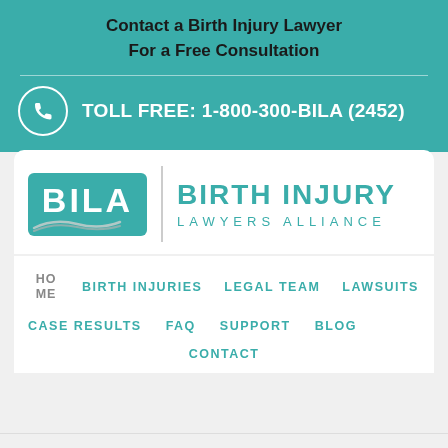Contact a Birth Injury Lawyer For a Free Consultation
TOLL FREE: 1-800-300-BILA (2452)
[Figure (logo): BILA Birth Injury Lawyers Alliance logo with teal background, white BILA letters, wave graphic, vertical divider, and teal organization name text]
HOME
BIRTH INJURIES
LEGAL TEAM
LAWSUITS
CASE RESULTS
FAQ
SUPPORT
BLOG
CONTACT